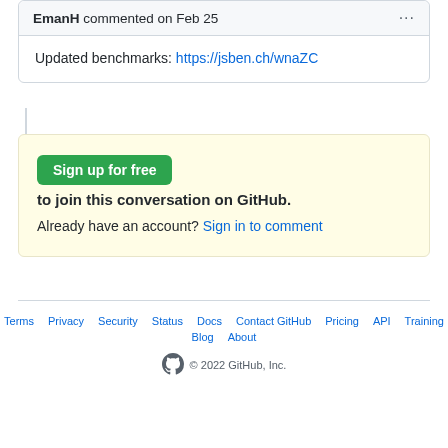EmanH commented on Feb 25
Updated benchmarks: https://jsben.ch/wnaZC
Sign up for free to join this conversation on GitHub. Already have an account? Sign in to comment
Terms Privacy Security Status Docs Contact GitHub Pricing API Training Blog About © 2022 GitHub, Inc.